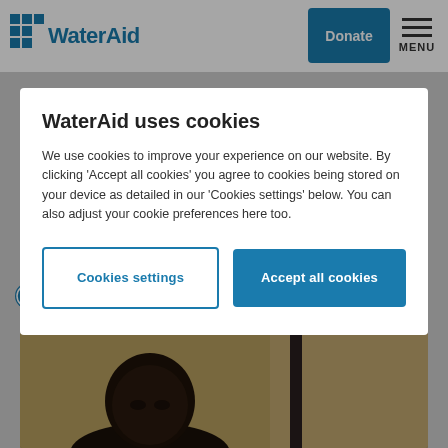[Figure (logo): WaterAid logo with teal W icon and wordmark]
Donate
MENU
WaterAid uses cookies
We use cookies to improve your experience on our website. By clicking 'Accept all cookies' you agree to cookies being stored on your device as detailed in our 'Cookies settings' below. You can also adjust your cookie preferences here too.
Cookies settings
Accept all cookies
4 min read
[Figure (photo): Close-up portrait photo of a young boy with short hair, against a muted background with a vertical pole]